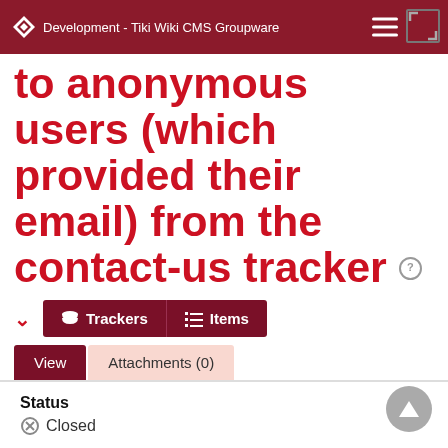Development - Tiki Wiki CMS Groupware
to anonymous users (which provided their email) from the contact-us tracker
Trackers  Items
View  Attachments (0)
Status
Closed
Version
12.x
13.x